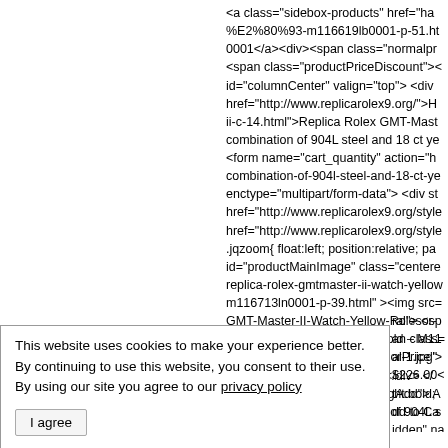<a class="sidebox-products" href="ha…%E2%80%93-m116619lb0001-p-51.h…0001</a><div><span class="normalpr…<span class="productPriceDiscount">…id="columnCenter" valign="top"> <div href="http://www.replicarolex9.org/">H…ii-c-14.html">Replica Rolex GMT-Mast…combination of 904L steel and 18 ct ye…<form name="cart_quantity" action="h…combination-of-904l-steel-and-18-ct-ye…enctype="multipart/form-data"> <div st…href="http://www.replicarolex9.org/style…href="http://www.replicarolex9.org/style….jqzoom{ float:left; position:relative; pa…id="productMainImage" class="centere…replica-rolex-gmtmaster-ii-watch-yellow…m116713ln0001-p-39.html" ><img src=…GMT-Master-II-Watch-Yellow-Rolesor-…904L steel and 18 ct yellow gold – M11…Master-II-Watch-Yellow-Rolesor-1.jpg"…class="smallimages"></div> </div> </…column'> <div style="font-weight:bold;…Yellow Rolesor - combination of 904L s…ral"> <span class=…alPrice">$226.00<…tAdd"> Add to Ca…idden" name="pro…carolex9.org/inclu…lass="clearBoth" …atch-yellow-roleso…
This website uses cookies to make your experience better. By continuing to use this website, you consent to their use. By using our site you agree to our privacy policy
I agree